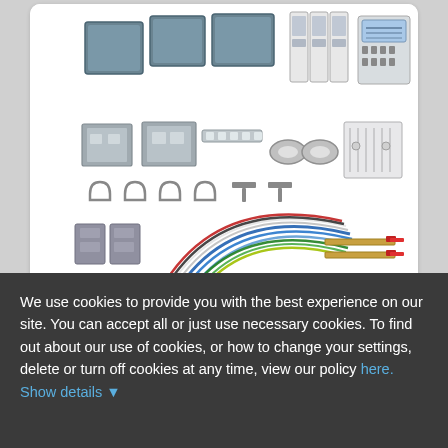[Figure (photo): Electrical components kit including DIN rail enclosures, mounting brackets, circuit breakers/modules on DIN rail, energy meter, current transformer clamps, terminal blocks, cable assemblies with colored wires (blue, green, yellow) and ring/fork terminals, and grounding/earthing bars.]
[Figure (photo): Thumbnail image of a DIN rail panel mount bracket or frame component, shown selected with a teal/blue border.]
We use cookies to provide you with the best experience on our site. You can accept all or just use necessary cookies. To find out about our use of cookies, or how to change your settings, delete or turn off cookies at any time, view our policy here. Show details ▼